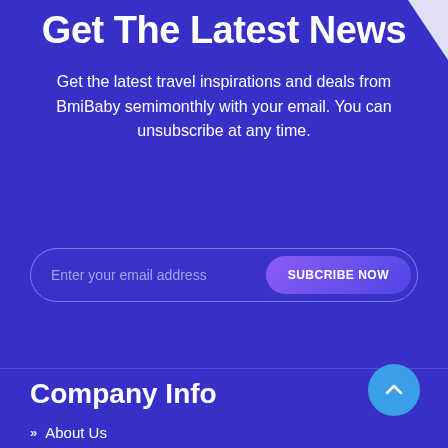Get The Latest News
Get the latest travel inspirations and deals from BmiBaby semimonthly with your email. You can unsubscribe at any time.
[Figure (screenshot): Email subscription input field with placeholder 'Enter your email address' and a 'SUBCRIBE NOW' button with purple gradient]
Company Info
About Us